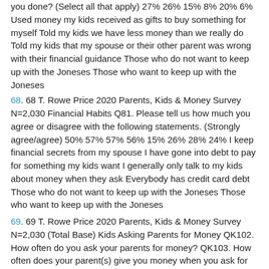you done? (Select all that apply) 27% 26% 15% 8% 20% 6% Used money my kids received as gifts to buy something for myself Told my kids we have less money than we really do Told my kids that my spouse or their other parent was wrong with their financial guidance Those who do not want to keep up with the Joneses Those who want to keep up with the Joneses
68. 68 T. Rowe Price 2020 Parents, Kids & Money Survey N=2,030 Financial Habits Q81. Please tell us how much you agree or disagree with the following statements. (Strongly agree/agree) 50% 57% 57% 56% 15% 26% 28% 24% I keep financial secrets from my spouse I have gone into debt to pay for something my kids want I generally only talk to my kids about money when they ask Everybody has credit card debt Those who do not want to keep up with the Joneses Those who want to keep up with the Joneses
69. 69 T. Rowe Price 2020 Parents, Kids & Money Survey N=2,030 (Total Base) Kids Asking Parents for Money QK102. How often do you ask your parents for money? QK103. How often does your parent(s) give you money when you ask for it? 19% 25% 10% 9% 7% 9% 21% 29% 14% 17% 9% 2% 12% 17% A few times a month